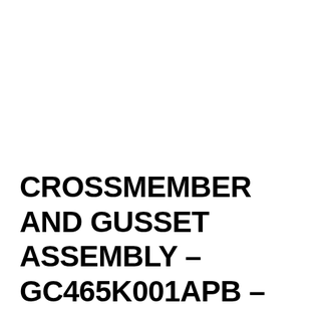CROSSMEMBER AND GUSSET ASSEMBLY – GC465K001APB – T358646 – GC465K001APA – T358646...